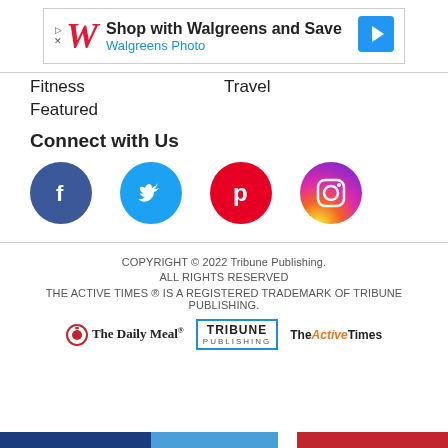[Figure (other): Walgreens advertisement banner: Shop with Walgreens and Save, Walgreens Photo]
Fitness
Travel
Featured
Connect with Us
[Figure (other): Social media icons: Facebook, Twitter, Pinterest, Instagram]
COPYRIGHT © 2022 Tribune Publishing.
ALL RIGHTS RESERVED
THE ACTIVE TIMES ® IS A REGISTERED TRADEMARK OF TRIBUNE PUBLISHING.
[Figure (logo): Footer logos: The Daily Meal, Tribune Publishing, TheActiveTimes]